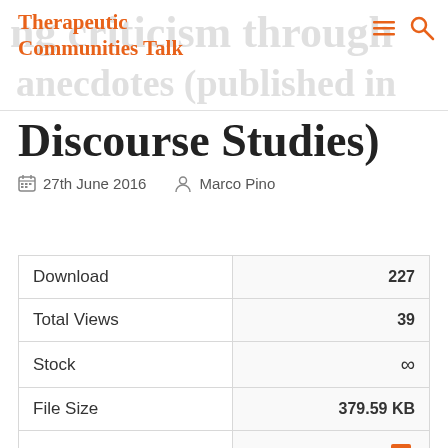Therapeutic Communities Talk
Discourse Studies)
27th June 2016   Marco Pino
|  |  |
| --- | --- |
| Download | 227 |
| Total Views | 39 |
| Stock | ∞ |
| File Size | 379.59 KB |
| File Type | [PDF icon] |
| Create Date | 27th June 2016 |